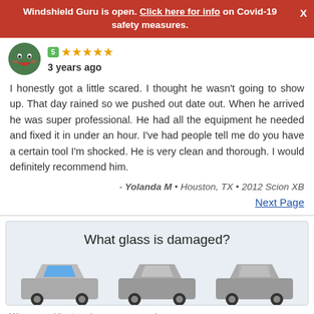Windshield Guru is open. Click here for info on Covid-19 safety measures.
[Figure (illustration): Green smiley face avatar icon with star rating badge and 5 stars]
3 years ago
I honestly got a little scared. I thought he wasn't going to show up. That day rained so we pushed out date out. When he arrived he was super professional. He had all the equipment he needed and fixed it in under an hour. I've had people tell me do you have a certain tool I'm shocked. He is very clean and thorough. I would definitely recommend him.
- Yolanda M • Houston, TX • 2012 Scion XB
Next Page
[Figure (illustration): Three car illustrations for glass damage selection: front windshield highlighted in blue, middle sedan, rear sedan]
What glass is damaged?
We use cookies to enhance your experience.